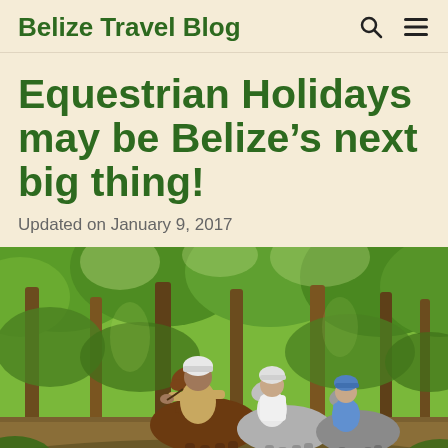Belize Travel Blog
Equestrian Holidays may be Belize’s next big thing!
Updated on January 9, 2017
[Figure (photo): Three people on horseback riding through a lush green forest. The lead rider is a man in a tan uniform and white helmet, followed by a woman in a white top and white helmet, and another rider in a blue shirt and blue helmet. Tall trees with green foliage surround them.]